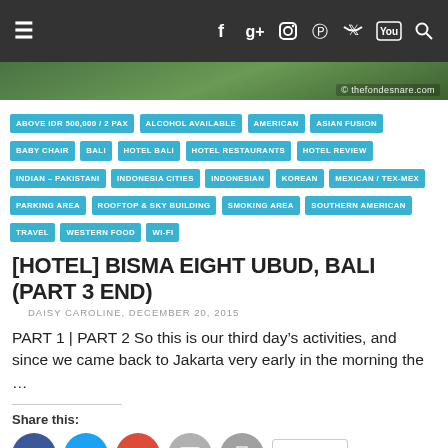Navigation bar with hamburger menu and social icons: Facebook, Google+, Instagram, Pinterest, Twitter, YouTube, Search
[Figure (photo): Green foliage background image strip with watermark © thefondesnare.com]
ABOVE IDR 500,000 / 2 PAX | ALCOHOL AVAILABLE | AMERICAN | ASIAN FUSION | BABY CHAIR | BALI | HOTEL BALI | HOTEL RESTAURANTS | HOTEL REVIEW | INDIAN – PAKISTANI | INDONESIA CITIES | INDONESIAN | KOREAN | MEXICAN / TEX-MEX | PARKING AREA | ROOFTOP & SKY BUILDING | SMOKING AREA | SOUTHERN AMERICAN | TRAVEL | WESTERN FOOD | WI-FI
[HOTEL] BISMA EIGHT UBUD, BALI (PART 3 END)
DAISY CAROLINE, DECEMBER 20, 2015
PART 1 | PART 2 So this is our third day's activities, and since we came back to Jakarta very early in the morning the …
Share this:
Read more ›
1 Comment